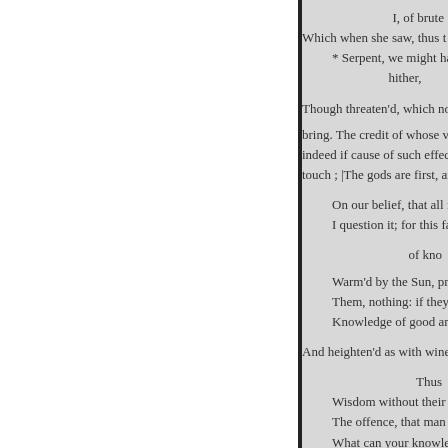I, of brute
Which when she saw, thus t
* Serpent, we might have
hither,

Though threaten'd, which no w

bring. The credit of whose virtue
indeed if cause of such effects. A
touch ; |The gods are first, and th

On our belief, that all from
I question it; for this fair Ea

of kno

Warm'd by the Sun, produc
Them, nothing: if they all th
Knowledge of good and evi

And heighten'd as with wine,

Thus
Wisdom without their leave
The offence, that man shou
What can your knowledge h
Impart against his will, if o